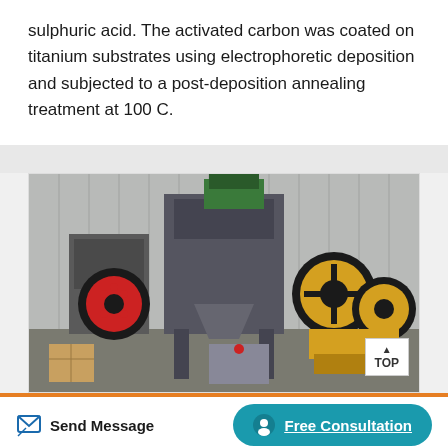sulphuric acid. The activated carbon was coated on titanium substrates using electrophoretic deposition and subjected to a post-deposition annealing treatment at 100 C.
[Figure (photo): Industrial machinery in a factory setting, showing jaw crushers and grinding mill equipment with large black and yellow wheels/rollers. A 'TOP' navigation badge is visible in the lower right of the image.]
Send Message
Free Consultation